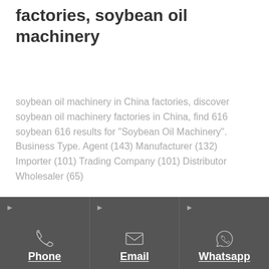China soybean oil machinery factories, soybean oil machinery
soybean oil machinery in China factories, discover soybean oil machinery factories in China, find 616 soybean 616 results for "Soybean Oil Machinery". Business Type. Agent (143) Manufacturer (132) Importer (101) Trading Company (101) Distributor Wholesaler (65)
Phone | Email | Whatsapp